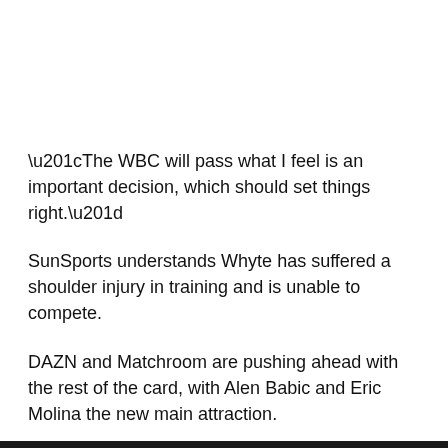“The WBC will pass what I feel is an important decision, which should set things right.”
SunSports understands Whyte has suffered a shoulder injury in training and is unable to compete.
DAZN and Matchroom are pushing ahead with the rest of the card, with Alen Babic and Eric Molina the new main attraction.
SunSport understands Babic, 30, offered to step in and fight Wallin but the Swede’s camp refused.